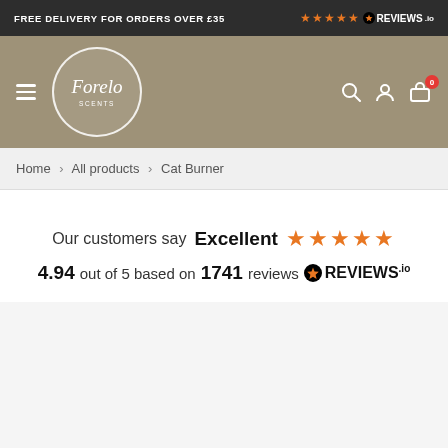FREE DELIVERY FOR ORDERS OVER £35
[Figure (logo): Forelo Scents circular logo with brand name in italic script]
Home > All products > Cat Burner
Our customers say Excellent ★★★★★ 4.94 out of 5 based on 1741 reviews REVIEWS.io